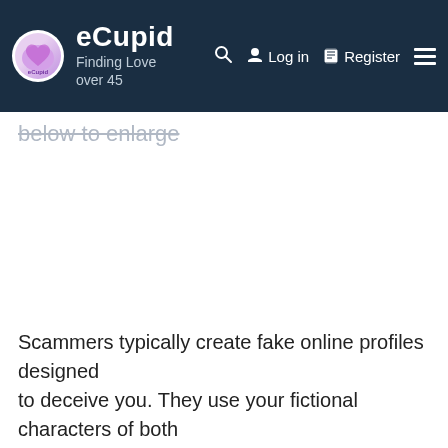eCupid — Finding Love over 45
below to enlarge
Scammers typically create fake online profiles designed to deceive you. They use your fictional characters of both